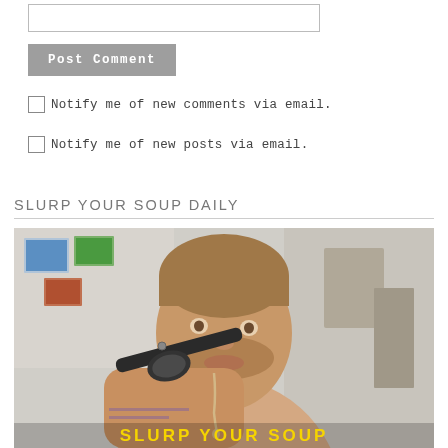[Figure (other): Text input box (comment form field)]
Post Comment
Notify me of new comments via email.
Notify me of new posts via email.
SLURP YOUR SOUP DAILY
[Figure (photo): A shirtless tattooed man eating soup from a large black spoon, liquid dripping from his chin, set in a casual indoor background with photos on the wall. Yellow text overlay at the bottom.]